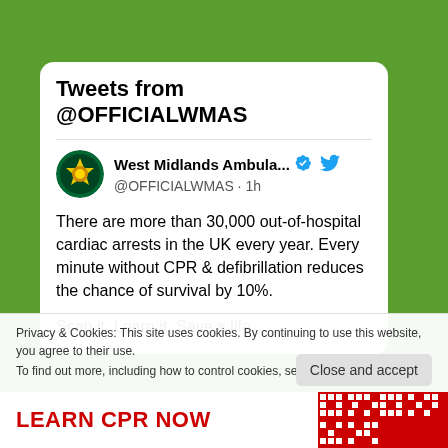Tweets from @OFFICIALWMAS
West Midlands Ambula... @OFFICIALWMAS · 1h
There are more than 30,000 out-of-hospital cardiac arrests in the UK every year. Every minute without CPR & defibrillation reduces the chance of survival by 10%.
Scan it. Learn it. Save a life.
Privacy & Cookies: This site uses cookies. By continuing to use this website, you agree to their use.
To find out more, including how to control cookies, see here: Cookie Policy
Close and accept
LEARN CPR NOW